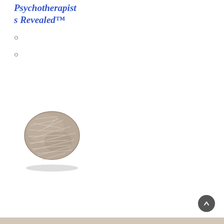Psychotherapists Revealed™
○
○
[Figure (photo): A smooth rounded stone with a tan/beige color, featuring light-colored criss-cross line patterns on its surface, photographed on a white background.]